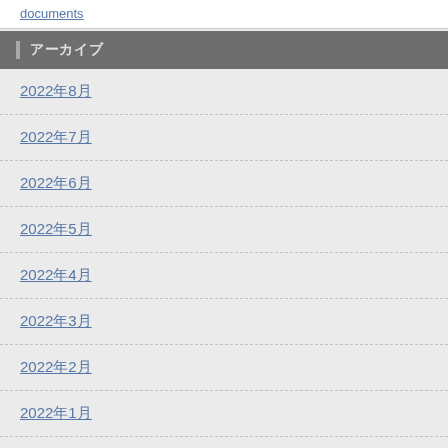documents
アーカイブ
2022年8月
2022年7月
2022年6月
2022年5月
2022年4月
2022年3月
2022年2月
2022年1月
2021年12月
2021年11月
2021年10月